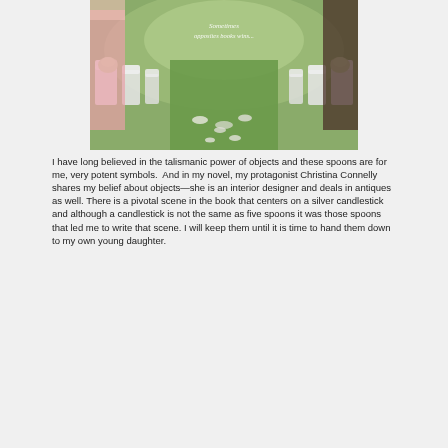[Figure (photo): Outdoor wedding ceremony aisle with white chairs decorated with flowers on either sides, green grass and petals on the ground, with text overlay reading 'Sometimes opposites books wins...']
I have long believed in the talismanic power of objects and these spoons are for me, very potent symbols.  And in my novel, my protagonist Christina Connelly shares my belief about objects—she is an interior designer and deals in antiques as well. There is a pivotal scene in the book that centers on a silver candlestick and although a candlestick is not the same as five spoons it was those spoons that led me to write that scene. I will keep them until it is time to hand them down to my own young daughter.